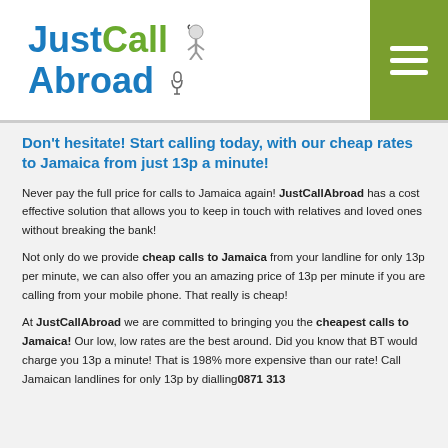JustCall Abroad
Don't hesitate! Start calling today, with our cheap rates to Jamaica from just 13p a minute!
Never pay the full price for calls to Jamaica again! JustCallAbroad has a cost effective solution that allows you to keep in touch with relatives and loved ones without breaking the bank!
Not only do we provide cheap calls to Jamaica from your landline for only 13p per minute, we can also offer you an amazing price of 13p per minute if you are calling from your mobile phone. That really is cheap!
At JustCallAbroad we are committed to bringing you the cheapest calls to Jamaica! Our low, low rates are the best around. Did you know that BT would charge you 13p a minute! That is 198% more expensive than our rate! Call Jamaican landlines for only 13p by dialling0871 313